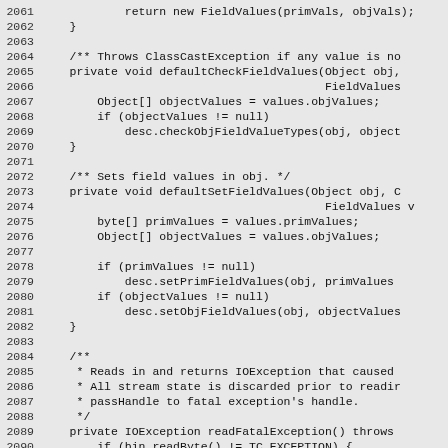Source code listing, lines 2061-2090, showing Java methods: defaultCheckFieldValues and defaultSetFieldValues, and start of readFatalException